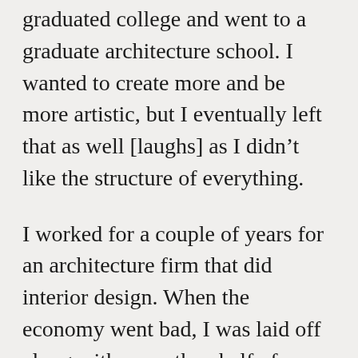graduated college and went to a graduate architecture school. I wanted to create more and be more artistic, but I eventually left that as well [laughs] as I didn't like the structure of everything.
I worked for a couple of years for an architecture firm that did interior design. When the economy went bad, I was laid off along with more than half of my office. The day I was laid off I had a trip planned to New York. I always wanted to live in New York, and I thought it would be my chance to get a job there [laughs]. When I came back, I spent two-three months researching